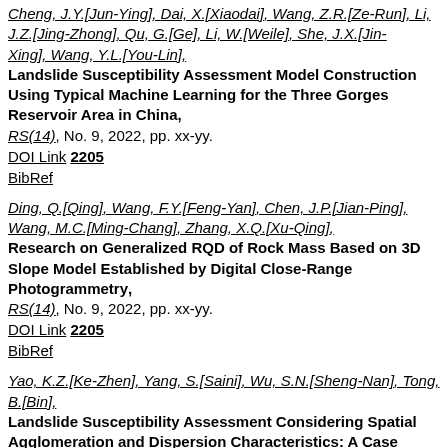Cheng, J.Y.[Jun-Ying], Dai, X.[Xiaodai], Wang, Z.R.[Ze-Run], Li, J.Z.[Jing-Zhong], Qu, G.[Ge], Li, W.[Weile], She, J.X.[Jin-Xing], Wang, Y.L.[You-Lin], Landslide Susceptibility Assessment Model Construction Using Typical Machine Learning for the Three Gorges Reservoir Area in China, RS(14), No. 9, 2022, pp. xx-yy. DOI Link 2205 BibRef
Ding, Q.[Qing], Wang, F.Y.[Feng-Yan], Chen, J.P.[Jian-Ping], Wang, M.C.[Ming-Chang], Zhang, X.Q.[Xu-Qing], Research on Generalized RQD of Rock Mass Based on 3D Slope Model Established by Digital Close-Range Photogrammetry, RS(14), No. 9, 2022, pp. xx-yy. DOI Link 2205 BibRef
Yao, K.Z.[Ke-Zhen], Yang, S.[Saini], Wu, S.N.[Sheng-Nan], Tong, B.[Bin], Landslide Susceptibility Assessment Considering Spatial Agglomeration and Dispersion Characteristics: A Case Study of Bijie City in Guizhou Province, China, IJGI(11), No. 5, 2022, pp. xx-yy. DOI Link 2206